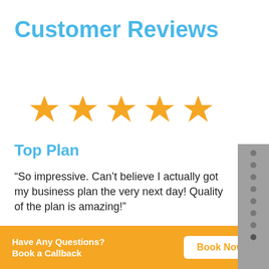Customer Reviews
[Figure (other): Five gold star rating icons displayed in a row]
Top Plan
“So impressive. Can’t believe I actually got my business plan the very next day! Quality of the plan is amazing!"
– Carlos [eCommerce Business Plan]
Have Any Questions? Book a Callback  Book Now